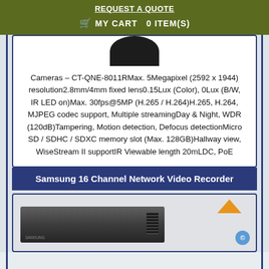REQUEST A QUOTE
🛒 MY CART  0 ITEM(S)
[Figure (photo): Bottom portion of a dome security camera in black/dark color, circular shape visible at top of product card]
Cameras – CT-QNE-8011RMax. 5Megapixel (2592 x 1944) resolution2.8mm/4mm fixed lens0.15Lux (Color), 0Lux (B/W, IR LED on)Max. 30fps@5MP (H.265 / H.264)H.265, H.264, MJPEG codec support, Multiple streamingDay & Night, WDR (120dB)Tampering, Motion detection, Defocus detectionMicro SD / SDHC / SDXC memory slot (Max. 128GB)Hallway view, WiseStream II supportIR Viewable length 20mLDC, PoE
Samsung 16 Channel Network Video Recorder
[Figure (photo): Samsung 16 Channel Network Video Recorder device shown in dark grey/black color with vents, with an orange arrow icon in upper right corner and a blue help button in lower right corner]